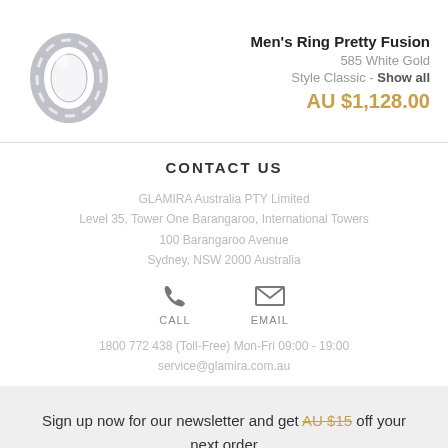[Figure (photo): Silver/white gold men's ring shown at an angle on white background]
Men's Ring Pretty Fusion
585 White Gold
Style Classic - Show all
AU $1,128.00
CONTACT US
GLAMIRA Australia PTY Limited
Level 35, Tower One Barangaroo, International Towers
100 Barangaroo Avenue
Sydney, NSW 2000 Australia
CALL
EMAIL
1800 772 438 (Toll-Free) Mon-Fri 09:00 - 19:00
service@glamira.com.au
Sign up now for our newsletter and get AU $15 off your next order